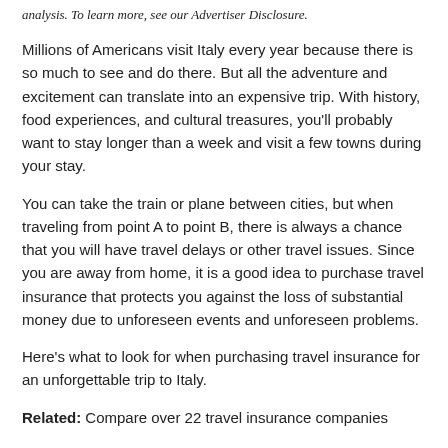analysis. To learn more, see our Advertiser Disclosure.
Millions of Americans visit Italy every year because there is so much to see and do there. But all the adventure and excitement can translate into an expensive trip. With history, food experiences, and cultural treasures, you'll probably want to stay longer than a week and visit a few towns during your stay.
You can take the train or plane between cities, but when traveling from point A to point B, there is always a chance that you will have travel delays or other travel issues. Since you are away from home, it is a good idea to purchase travel insurance that protects you against the loss of substantial money due to unforeseen events and unforeseen problems.
Here's what to look for when purchasing travel insurance for an unforgettable trip to Italy.
Related: Compare over 22 travel insurance companies
Block special benefits